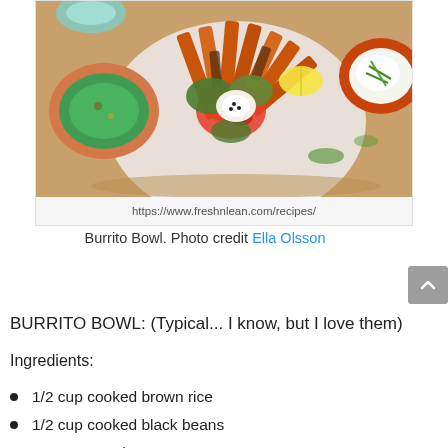[Figure (photo): Overhead photo of a burrito bowl with sweet potato fries, guacamole, salsa, sour cream, and cilantro on a wooden board]
https://www.freshnlean.com/recipes/
Burrito Bowl. Photo credit Ella Olsson
BURRITO BOWL: (Typical... I know, but I love them)
Ingredients:
1/2 cup cooked brown rice
1/2 cup cooked black beans
1 cup roasted sweet potatoes